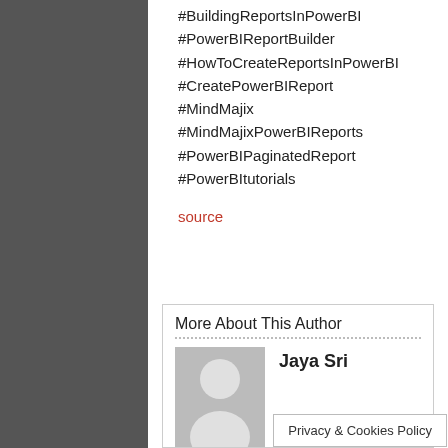#BuildingReportsInPowerBI
#PowerBIReportBuilder
#HowToCreateReportsInPowerBI
#CreatePowerBIReport
#MindMajix
#MindMajixPowerBIReports
#PowerBIPaginatedReport
#PowerBItutorials
source
More About This Author
Jaya Sri